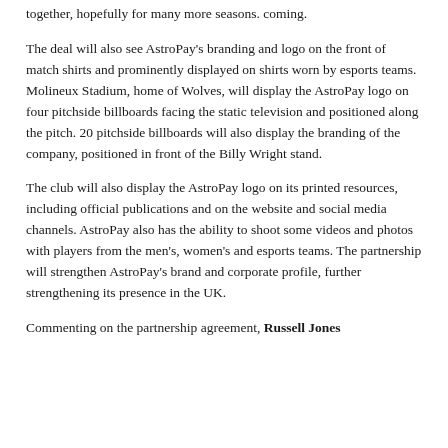together, hopefully for many more seasons. coming.
The deal will also see AstroPay's branding and logo on the front of match shirts and prominently displayed on shirts worn by esports teams. Molineux Stadium, home of Wolves, will display the AstroPay logo on four pitchside billboards facing the static television and positioned along the pitch. 20 pitchside billboards will also display the branding of the company, positioned in front of the Billy Wright stand.
The club will also display the AstroPay logo on its printed resources, including official publications and on the website and social media channels. AstroPay also has the ability to shoot some videos and photos with players from the men's, women's and esports teams. The partnership will strengthen AstroPay's brand and corporate profile, further strengthening its presence in the UK.
Commenting on the partnership agreement, Russell Jones